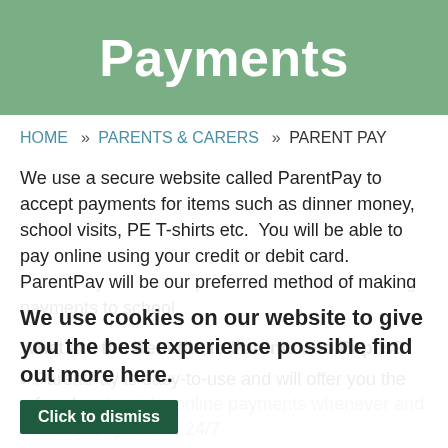Payments
HOME » PARENTS & CARERS » PARENT PAY
We use a secure website called ParentPay to accept payments for items such as dinner money, school visits, PE T-shirts etc.  You will be able to pay online using your credit or debit card. ParentPay will be our preferred method of making payments to school.
What are the Benefits to Parents and Pupils?
ParentPay is easy-to-use and will offer you the freedom to make online payments whenever and wherever you like, 24/7
The technology used is of the highest internet security available ensuring that your money will reach school safely... offering you peace of mind
We use cookies on our website to give you the best experience possible find out more here.
Click to dismiss